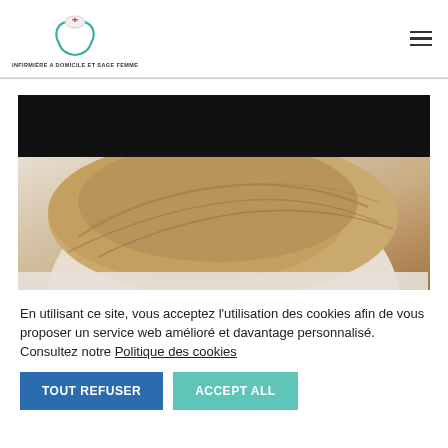[Figure (logo): Logo with nurse cap and hands icon in teal/green, red cross on cap]
INFIRMIÈRE A DOMICILE ET SAGE FEMME
[Figure (photo): Close-up photo of a baby's head with blonde hair against a light background, top portion obscured by black rectangle]
En utilisant ce site, vous acceptez l'utilisation des cookies afin de vous proposer un service web amélioré et davantage personnalisé. Consultez notre Politique des cookies
TOUT REFUSER
ACCEPT ALL